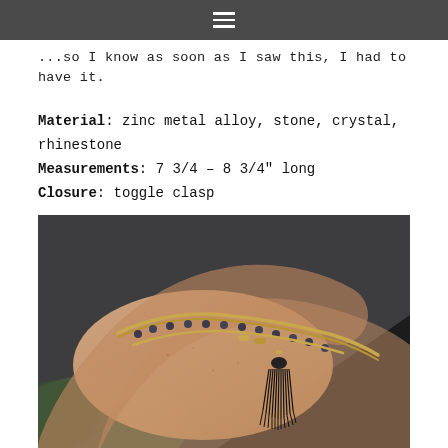Navigation menu bar
...so I know as soon as I saw this, I had to have it.
Material: zinc metal alloy, stone, crystal, rhinestone
Measurements: 7 3/4 – 8 3/4" long
Closure: toggle clasp
[Figure (photo): Close-up photo of a woman's wrist wearing a decorative bracelet with gold chain, dark beads, and a black tassel, against a dark clothing background.]